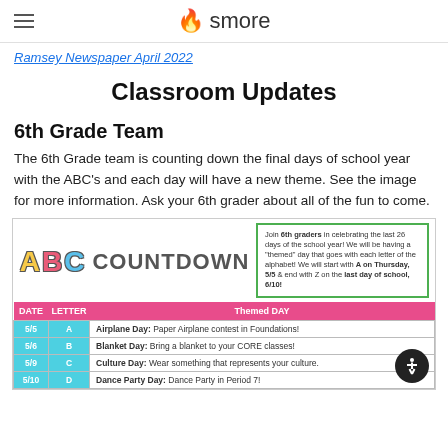smore
Ramsey Newspaper April 2022
Classroom Updates
6th Grade Team
The 6th Grade team is counting down the final days of school year with the ABC's and each day will have a new theme. See the image for more information. Ask your 6th grader about all of the fun to come.
[Figure (table-as-image): ABC Countdown chart showing themed days by date and letter for 6th graders. Dates 5/5 (A - Airplane Day), 5/6 (B - Blanket Day), 5/9 (C - Culture Day), 5/10 (D - Dance Party Day). Info box: Join 6th graders in celebrating the last 26 days of the school year! We will be having a themed day that goes with each letter of the alphabet! We will start with A on Thursday, 5/5 & end with Z on the last day of school, 6/10!]